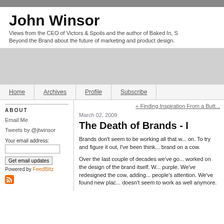John Winsor
Views from the CEO of Victors & Spoils and the author of Baked In, S... Beyond the Brand about the future of marketing and product design.
Home | Archives | Profile | Subscribe
ABOUT
Email Me
Tweets by @jtwinsor
Your email address:
Get email updates
Powered by FeedBlitz
« Finding Inspiration From a Butt...
March 02, 2009
The Death of Brands - I
Brands don't seem to be working all that w... on. To try and figure it out, I've been think... brand on a cow.
Over the last couple of decades we've go... worked on the design of the brand itself. W... purple. We've redesigned the cow, adding... people's attention. We've found new plac... doesn't seem to work as well anymore.